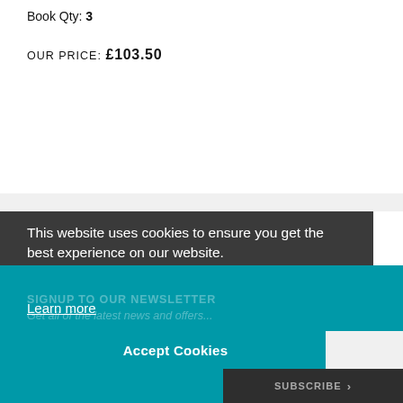Book Qty: 3
OUR PRICE: £103.50
This website uses cookies to ensure you get the best experience on our website.
Learn more
SIGNUP TO OUR NEWSLETTER
Get all of the latest news and offers...
Accept Cookies
SUBSCRIBE >